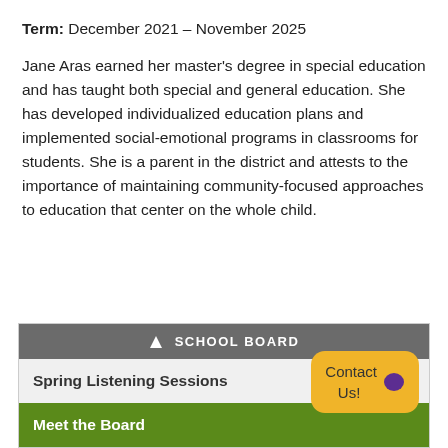Term: December 2021 – November 2025
Jane Aras earned her master's degree in special education and has taught both special and general education. She has developed individualized education plans and implemented social-emotional programs in classrooms for students. She is a parent in the district and attests to the importance of maintaining community-focused approaches to education that center on the whole child.
SCHOOL BOARD
Spring Listening Sessions
Meet the Board